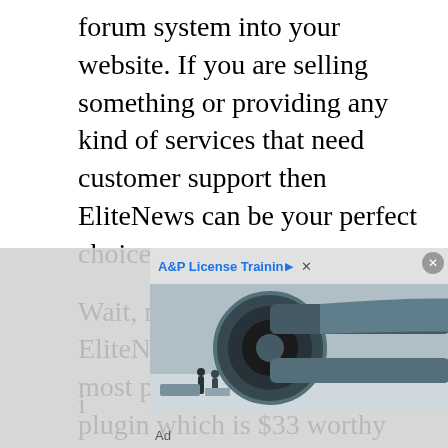forum system into your website. If you are selling something or providing any kind of services that need customer support then EliteNews can be your perfect choice.
Wait, not finished yet, EliteNews packed with the most popular visual composer plugin which is $33 worthy plugin. You can customize or build any kind of layout without having any coding knowledge. Visual composer comes with plenty of awesome extension which you can use to implement various type of contents i...
[Figure (photo): Advertisement image showing airplane jet engine turbines, with 'A&P License Training' ad label and 'Ad' text below]